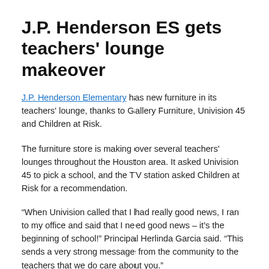J.P. Henderson ES gets teachers' lounge makeover
J.P. Henderson Elementary has new furniture in its teachers' lounge, thanks to Gallery Furniture, Univision 45 and Children at Risk.
The furniture store is making over several teachers' lounges throughout the Houston area. It asked Univision 45 to pick a school, and the TV station asked Children at Risk for a recommendation.
“When Univision called that I had really good news, I ran to my office and said that I need good news – it’s the beginning of school!” Principal Herlinda Garcia said. “This sends a very strong message from the community to the teachers that we do care about you.”